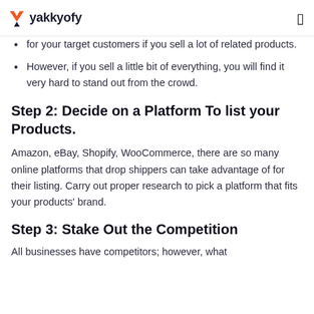yakkyofy
for your target customers if you sell a lot of related products.
However, if you sell a little bit of everything, you will find it very hard to stand out from the crowd.
Step 2: Decide on a Platform To list your Products.
Amazon, eBay, Shopify, WooCommerce, there are so many online platforms that drop shippers can take advantage of for their listing. Carry out proper research to pick a platform that fits your products' brand.
Step 3: Stake Out the Competition
All businesses have competitors; however, what